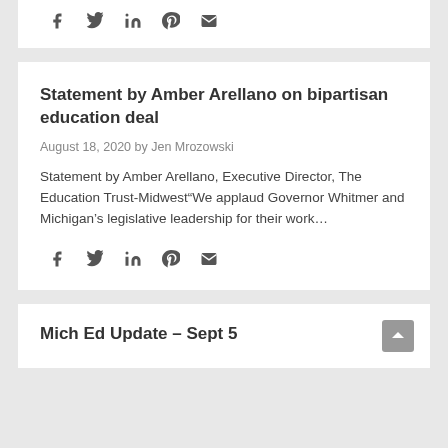[Figure (other): Social sharing icons: facebook, twitter, linkedin, pinterest, email]
Statement by Amber Arellano on bipartisan education deal
August 18, 2020 by Jen Mrozowski
Statement by Amber Arellano, Executive Director, The Education Trust-Midwest“We applaud Governor Whitmer and Michigan’s legislative leadership for their work…
[Figure (other): Social sharing icons: facebook, twitter, linkedin, pinterest, email]
Mich Ed Update – Sept 5